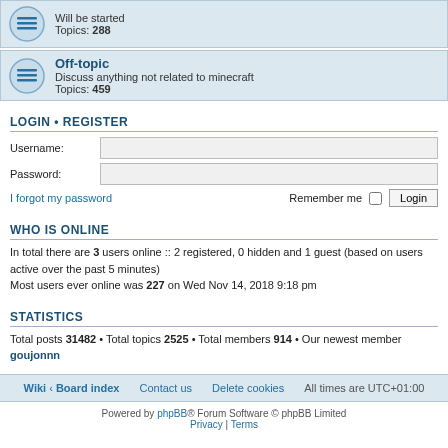Will be started
Topics: 288
Off-topic
Discuss anything not related to minecraft
Topics: 459
LOGIN • REGISTER
Username:
Password:
I forgot my password   Remember me  [checkbox]  Login
WHO IS ONLINE
In total there are 3 users online :: 2 registered, 0 hidden and 1 guest (based on users active over the past 5 minutes)
Most users ever online was 227 on Wed Nov 14, 2018 9:18 pm
STATISTICS
Total posts 31482 • Total topics 2525 • Total members 914 • Our newest member goujonnn
Wiki • Board index   Contact us   Delete cookies   All times are UTC+01:00
Powered by phpBB® Forum Software © phpBB Limited
Privacy | Terms